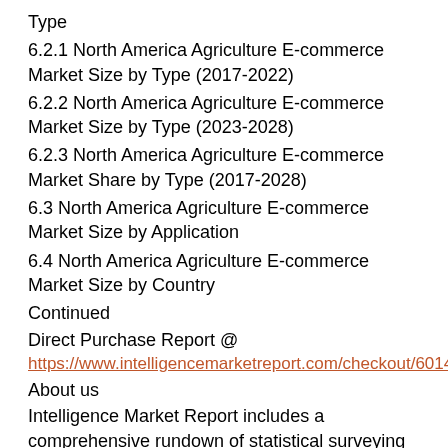Type
6.2.1 North America Agriculture E-commerce Market Size by Type (2017-2022)
6.2.2 North America Agriculture E-commerce Market Size by Type (2023-2028)
6.2.3 North America Agriculture E-commerce Market Share by Type (2017-2028)
6.3 North America Agriculture E-commerce Market Size by Application
6.4 North America Agriculture E-commerce Market Size by Country
Continued
Direct Purchase Report @
https://www.intelligencemarketreport.com/checkout/601440
About us
Intelligence Market Report includes a comprehensive rundown of statistical surveying reports from many distributors around the world. We brag an information base traversing basically